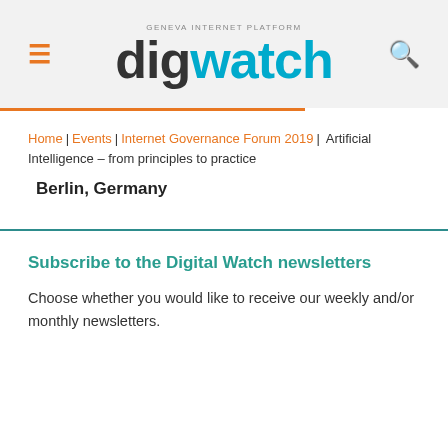digwatch — Geneva Internet Platform
Home | Events | Internet Governance Forum 2019 | Artificial Intelligence – from principles to practice
Berlin, Germany
Subscribe to the Digital Watch newsletters
Choose whether you would like to receive our weekly and/or monthly newsletters.